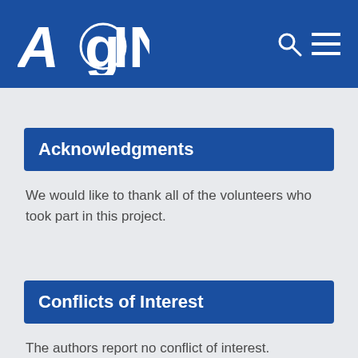AGING
Acknowledgments
We would like to thank all of the volunteers who took part in this project.
Conflicts of Interest
The authors report no conflict of interest.